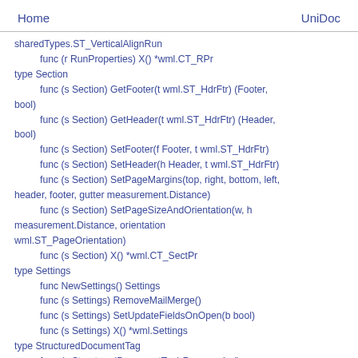Home    UniDoc
sharedTypes.ST_VerticalAlignRun
    func (r RunProperties) X() *wml.CT_RPr
type Section
    func (s Section) GetFooter(t wml.ST_HdrFtr) (Footer, bool)
    func (s Section) GetHeader(t wml.ST_HdrFtr) (Header, bool)
    func (s Section) SetFooter(f Footer, t wml.ST_HdrFtr)
    func (s Section) SetHeader(h Header, t wml.ST_HdrFtr)
    func (s Section) SetPageMargins(top, right, bottom, left, header, footer, gutter measurement.Distance)
    func (s Section) SetPageSizeAndOrientation(w, h measurement.Distance, orientation wml.ST_PageOrientation)
    func (s Section) X() *wml.CT_SectPr
type Settings
    func NewSettings() Settings
    func (s Settings) RemoveMailMerge()
    func (s Settings) SetUpdateFieldsOnOpen(b bool)
    func (s Settings) X() *wml.Settings
type StructuredDocumentTag
    func (s StructuredDocumentTag) Paragraphs()